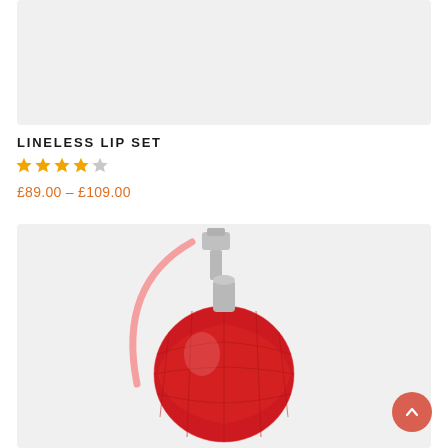[Figure (photo): Top portion of a product image, light grey background, partial view of cosmetic product]
LINELESS LIP SET
★★★★☆ (4 out of 5 stars)
£89.00 – £109.00
[Figure (photo): Red decorative glass perfume/atomizer bottle with pink tube and silver pump top, on light grey background]